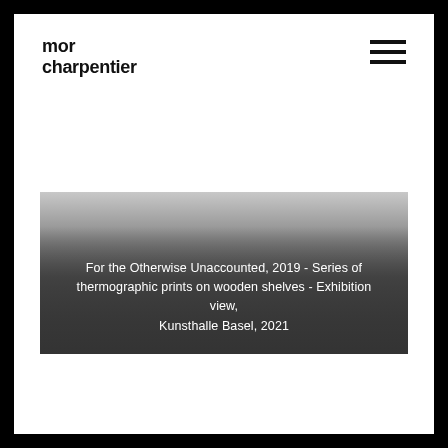mor charpentier
[Figure (other): Hamburger menu icon (three horizontal lines) in upper right corner]
[Figure (photo): Gradient image area transitioning from light gray at top to dark gray at bottom, with a text caption overlay at the bottom reading: For the Otherwise Unaccounted, 2019 - Series of thermographic prints on wooden shelves - Exhibition view, Kunsthalle Basel, 2021]
For the Otherwise Unaccounted, 2019 - Series of thermographic prints on wooden shelves - Exhibition view, Kunsthalle Basel, 2021